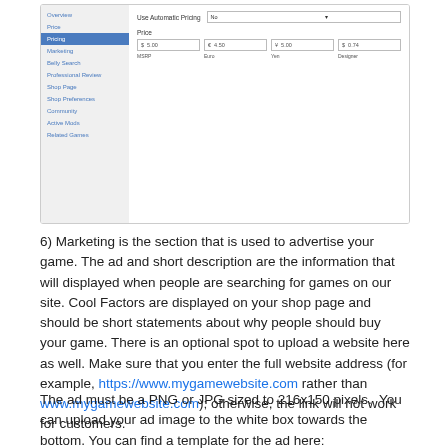[Figure (screenshot): Screenshot of a game publishing interface showing a sidebar with navigation items (Overview, Price, Pricing highlighted in blue, Marketing, Belly Search, Professional Review, Shop Page, Shop Preferences, Community, Active Mods, Related Games) and main content area showing 'Use Automatic Pricing' dropdown and Price fields with dollar amount inputs labeled MSRP, Euro, Yen, Designer]
6) Marketing is the section that is used to advertise your game. The ad and short description are the information that will displayed when people are searching for games on our site. Cool Factors are displayed on your shop page and should be short statements about why people should buy your game. There is an optional spot to upload a website here as well. Make sure that you enter the full website address (for example, https://www.mygamewebsite.com rather than www.mygamewebsite.com); otherwise, the link will not work for customers.
The ad must be a PNG or JPG sized to 216x150 pixels.  You can upload your ad image to the white box towards the bottom. You can find a template for the ad here: